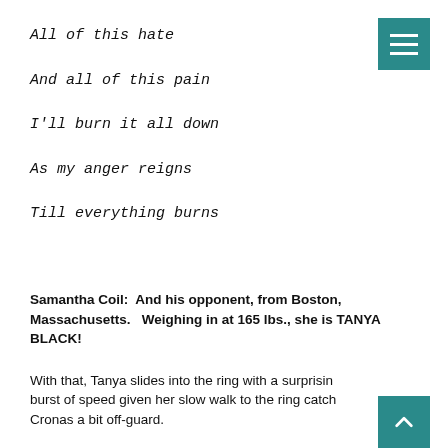All of this hate
And all of this pain
I'll burn it all down
As my anger reigns
Till everything burns
[Figure (other): Teal/dark-cyan hamburger menu button in the top-right corner]
Samantha Coil:  And his opponent, from Boston, Massachusetts.   Weighing in at 165 lbs., she is TANYA BLACK!
With that, Tanya slides into the ring with a surprising burst of speed given her slow walk to the ring catches Cronas a bit off-guard.
[Figure (other): Teal/dark-cyan scroll-to-top button with upward caret arrow in the bottom-right corner]